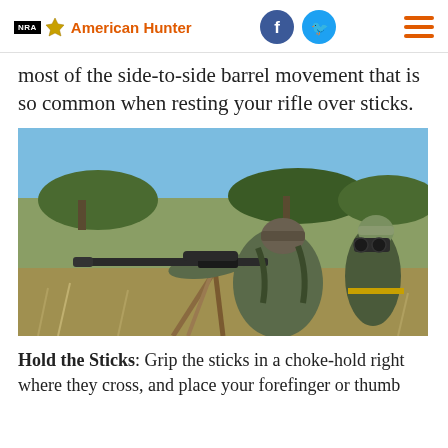NRA American Hunter
most of the side-to-side barrel movement that is so common when resting your rifle over sticks.
[Figure (photo): Two hunters in the African bush: one man in camo and grey shirt aiming a scoped rifle on shooting sticks, another man in green uniform looking through binoculars. Dry savanna landscape with acacia trees and blue sky in background.]
Hold the Sticks: Grip the sticks in a choke-hold right where they cross, and place your forefinger or thumb along the barrel to hold it in your arm. Alternate—